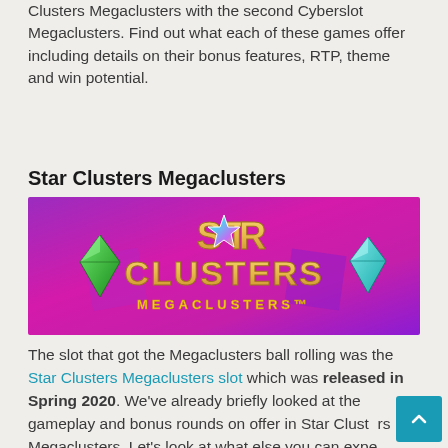Clusters Megaclusters with the second Cyberslot Megaclusters. Find out what each of these games offer including details on their bonus features, RTP, theme and win potential.
Star Clusters Megaclusters
[Figure (photo): Star Clusters Megaclusters game banner with purple/pink background, gold star logo text reading STAR CLUSTERS MEGACLUSTERS, green gem on left, teal diamond on right]
The slot that got the Megaclusters ball rolling was the Star Clusters Megaclusters slot which was released in Spring 2020. We've already briefly looked at the gameplay and bonus rounds on offer in Star Clusters Megaclusters. Let's look at what else you can expect from this pioneering slot in terms of design, RTP and